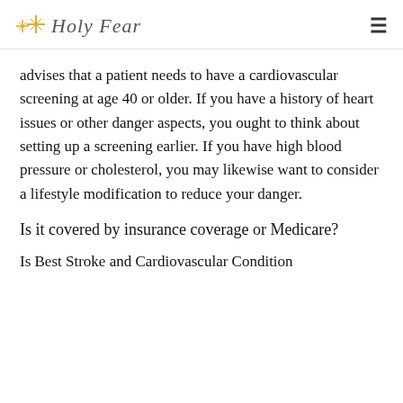✦ Holy Fear
advises that a patient needs to have a cardiovascular screening at age 40 or older. If you have a history of heart issues or other danger aspects, you ought to think about setting up a screening earlier. If you have high blood pressure or cholesterol, you may likewise want to consider a lifestyle modification to reduce your danger.
Is it covered by insurance coverage or Medicare?
Is Best Stroke and Cardiovascular Condition